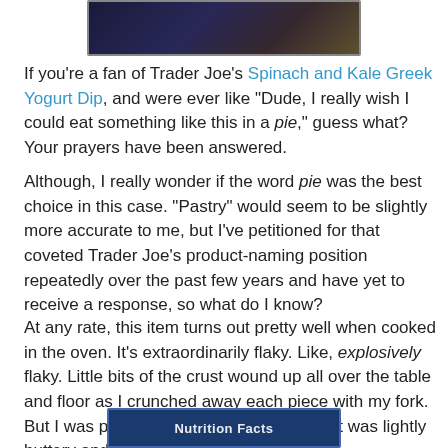[Figure (photo): Top portion of a product package image, partially cropped]
If you're a fan of Trader Joe's Spinach and Kale Greek Yogurt Dip, and were ever like "Dude, I really wish I could eat something like this in a pie," guess what? Your prayers have been answered.
Although, I really wonder if the word pie was the best choice in this case. "Pastry" would seem to be slightly more accurate to me, but I've petitioned for that coveted Trader Joe's product-naming position repeatedly over the past few years and have yet to receive a response, so what do I know?
At any rate, this item turns out pretty well when cooked in the oven. It's extraordinarily flaky. Like, explosively flaky. Little bits of the crust wound up all over the table and floor as I crunched away each piece with my fork. But I was pleased with the taste. The crust was lightly buttery and croissant-like, flavor-wise.
[Figure (photo): Nutrition Facts label, partially cropped at bottom of page]